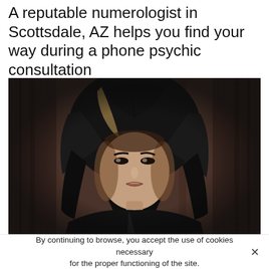A reputable numerologist in Scottsdale, AZ helps you find your way during a phone psychic consultation
[Figure (photo): A young woman with long dark hair wearing a dark hooded cloak, photographed against a dark brownish curtain background. She gazes directly at the camera with an intense expression.]
By continuing to browse, you accept the use of cookies necessary for the proper functioning of the site.